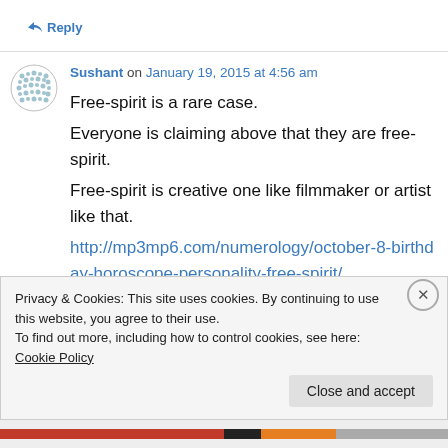↳ Reply
Sushant on January 19, 2015 at 4:56 am
Free-spirit is a rare case.
Everyone is claiming above that they are free-spirit.
Free-spirit is creative one like filmmaker or artist like that.
http://mp3mp6.com/numerology/october-8-birthday-horoscope-personality-free-spirit/
Privacy & Cookies: This site uses cookies. By continuing to use this website, you agree to their use.
To find out more, including how to control cookies, see here: Cookie Policy
Close and accept